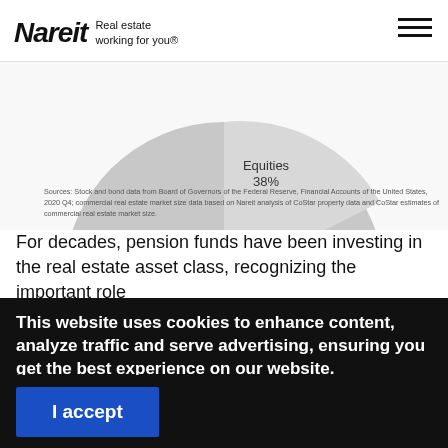Nareit — Real estate working for you®
[Figure (pie-chart): Partial view of a pie chart showing 'Equities 38%' segment visible at top]
Sources: Stock and bond data from Board of Governors of the Federal Reserve, Financial Accounts of the United States, 2020 Q4; commercial real estate market size data based on Nareit analysis of CoStar property data and CoStar estimates of commercial real estate market size.
For decades, pension funds have been investing in the real estate asset class, recognizing the important role
This website uses cookies to enhance content, analyze traffic and serve advertising, ensuring you get the best experience on our website.

By continuing to use our site you are agreeing to our cookie policy.
I accept